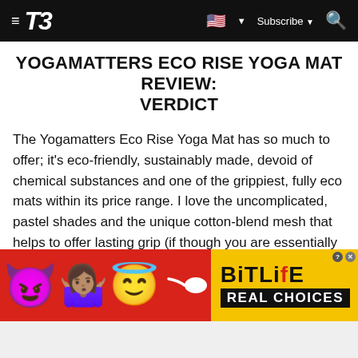T3 — Subscribe
YOGAMATTERS ECO RISE YOGA MAT REVIEW: VERDICT
The Yogamatters Eco Rise Yoga Mat has so much to offer; it's eco-friendly, sustainably made, devoid of chemical substances and one of the grippiest, fully eco mats within its price range. I love the uncomplicated, pastel shades and the unique cotton-blend mesh that helps to offer lasting grip (if though you are essentially practising on a big eraser). For any yogis that are looking for an eco-conscious mat from start to finish, look no further. This mat has everything you need and more and can help save the planet too.
[Figure (screenshot): Advertisement banner for BitLife game with red background, devil emoji, person shrugging emoji, angel emoji, and BitLife logo with 'REAL CHOICES' text]